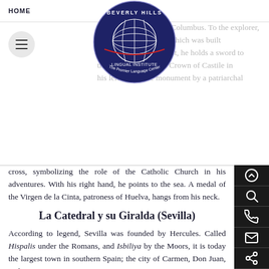HOME
[Figure (logo): Beverly Hills Lingual Institute logo — circular dark blue badge with globe and text 'The Premier Language Center']
the capital in honor of Columbus. To the explorer, called the Afore king, which was built in 1929 at the front mast, he holds a sword to the waist, holding the Crown of Castile in his left hand. The monument by a patriarchal cross, symbolizing the role of the Catholic Church in his adventures. With his right hand, he points to the sea. A medal of the Virgen de la Cinta, patroness of Huelva, hangs from his neck.
La Catedral y su Giralda (Sevilla)
According to legend, Sevilla was founded by Hercules. Called Hispalis under the Romans, and Isbiliya by the Moors, it is today the largest town in southern Spain; the city of Carmen, Don Juan, and Figaro.
The second-largest Catholic church in the world, after St. Peter's Basilica, is home to the city's iconic bell tower: the Giralda. It is a Gothic and Renaissance